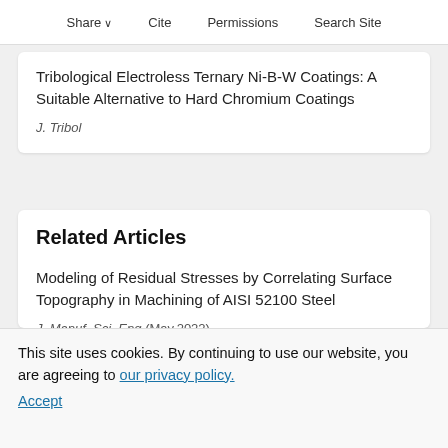Share  Cite  Permissions  Search Site
Tribological Electroless Ternary Ni-B-W Coatings: A Suitable Alternative to Hard Chromium Coatings
J. Tribol
Related Articles
Modeling of Residual Stresses by Correlating Surface Topography in Machining of AISI 52100 Steel
J. Manuf. Sci. Eng (May,2022)
A Percolation Method of Leakage Calculation and Gas Film at Mechanical Seal Interface
This site uses cookies. By continuing to use our website, you are agreeing to our privacy policy. Accept